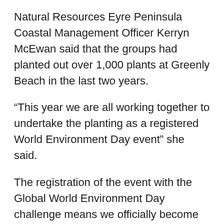Natural Resources Eyre Peninsula Coastal Management Officer Kerryn McEwan said that the groups had planted out over 1,000 plants at Greenly Beach in the last two years.
“This year we are all working together to undertake the planting as a registered World Environment Day event” she said.
The registration of the event with the Global World Environment Day challenge means we officially become one of over 4,000 events around the world.
Ms McEwan said the groups are also putting out the challenge locally to get over 1,500 plants into the ground.
The event begins at 11:00 am until 3pm. In addition to tree planting there will be a sausage sizzle and other activities for the children, including kite making, and a giant kite will be launched at midday.